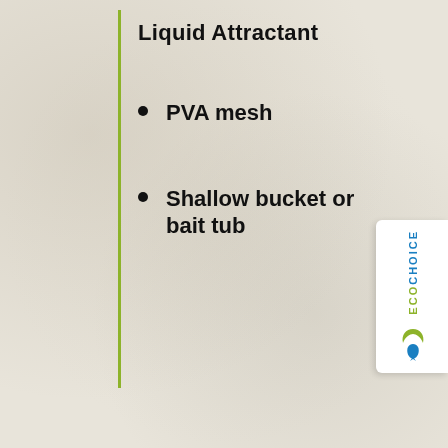Liquid Attractant
PVA mesh
Shallow bucket or bait tub
[Figure (logo): EcoChoice logo badge rotated vertically on right side with green leaf and fish icon]